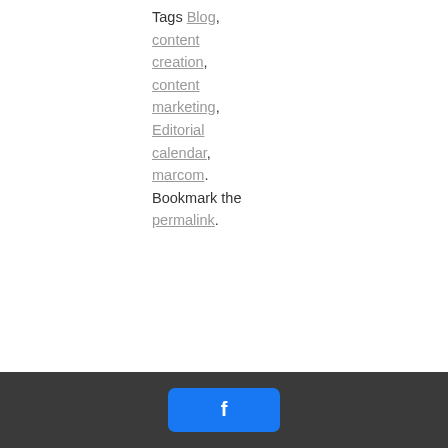Tags Blog, content creation, content marketing, Editorial calendar, marcom. Bookmark the permalink.
← How to Make Your Blog a Powerhouse [Data]   10 Blogs That Get It – Examples & Insights →
[Figure (other): Facebook share button with Facebook logo icon]